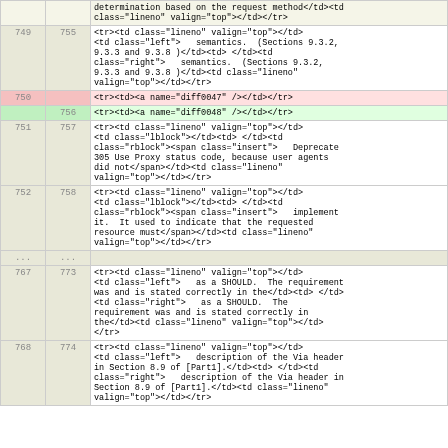| old line | new line | content |
| --- | --- | --- |
|  |  | determination based on the request method</td><td class="lineno" valign="top"></td></tr> |
| 749 | 755 | <tr><td class="lineno" valign="top"></td><td class="left">   semantics.  (Sections 9.3.2, 9.3.3 and 9.3.8 )</td><td> </td><td class="right">   semantics.  (Sections 9.3.2, 9.3.3 and 9.3.8 )</td><td class="lineno" valign="top"></td></tr> |
| 750 |  | <tr><td><a name="diff0047" /></td></tr> |
|  | 756 | <tr><td><a name="diff0048" /></td></tr> |
| 751 | 757 | <tr><td class="lineno" valign="top"></td><td class="lblock"></td><td> </td><td class="rblock"><span class="insert">   Deprecate 305 Use Proxy status code, because user agents did not</span></td><td class="lineno" valign="top"></td></tr> |
| 752 | 758 | <tr><td class="lineno" valign="top"></td><td class="lblock"></td><td> </td><td class="rblock"><span class="insert">   implement it.  It used to indicate that the requested resource must</span></td><td class="lineno" valign="top"></td></tr> |
| ... | ... |  |
| 767 | 773 | <tr><td class="lineno" valign="top"></td><td class="left">   as a SHOULD.  The requirement was and is stated correctly in the</td><td> </td><td class="right">   as a SHOULD.  The requirement was and is stated correctly in the</td><td class="lineno" valign="top"></td></tr> |
| 768 | 774 | <tr><td class="lineno" valign="top"></td><td class="left">   description of the Via header in Section 8.9 of [Part1].</td><td> </td><td class="right">   description of the Via header in Section 8.9 of [Part1].</td><td class="lineno" valign="top"></td></tr> |